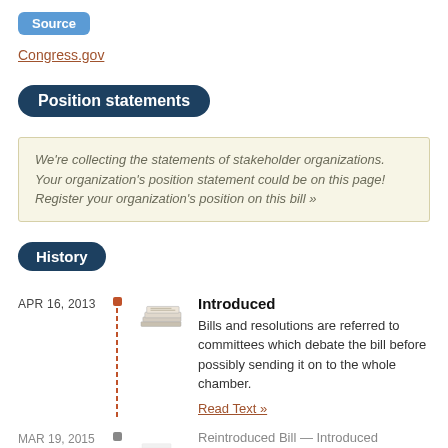Source
Congress.gov
Position statements
We’re collecting the statements of stakeholder organizations. Your organization’s position statement could be on this page! Register your organization’s position on this bill »
History
APR 16, 2013
[Figure (illustration): Stack of papers icon representing an introduced bill]
Introduced
Bills and resolutions are referred to committees which debate the bill before possibly sending it on to the whole chamber.
Read Text »
MAR 19, 2015
Reintroduced Bill — Introduced